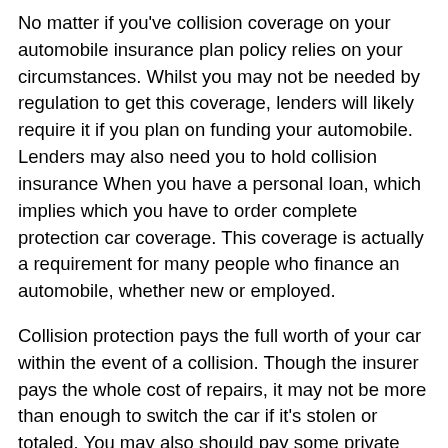No matter if you've collision coverage on your automobile insurance plan policy relies on your circumstances. Whilst you may not be needed by regulation to get this coverage, lenders will likely require it if you plan on funding your automobile. Lenders may also need you to hold collision insurance When you have a personal loan, which implies which you have to order complete protection car coverage. This coverage is actually a requirement for many people who finance an automobile, whether new or employed.
Collision protection pays the full worth of your car within the event of a collision. Though the insurer pays the whole cost of repairs, it may not be more than enough to switch the car if it's stolen or totaled. You may also should pay some private cash to interchange the car. If you have this kind of protection, you should definitely comprehend the stipulations ahead of paying for car insurance plan. You should also understand the deductible, and that is individual with the collision deductible.